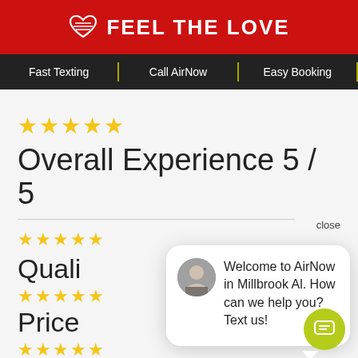FEEL THE LOVE
Fast Texting | Call AirNow | Easy Booking
[Figure (other): Five yellow stars rating]
Overall Experience 5 / 5
close
[Figure (other): Four and a half yellow stars rating]
Quali
[Figure (other): Five yellow stars rating]
Price
[Figure (other): Five yellow stars rating]
Conve
[Figure (screenshot): Chat popup with avatar photo of a man and text: Welcome to AirNow in Millbrook Al. How can we help you? Text us!]
[Figure (other): Green circular chat button with message icon]